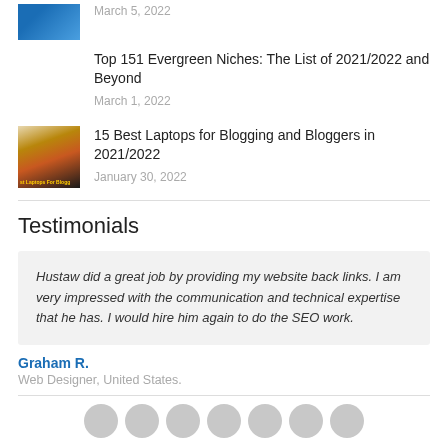March 5, 2022
Top 151 Evergreen Niches: The List of 2021/2022 and Beyond
March 1, 2022
[Figure (photo): Thumbnail image for laptops article]
15 Best Laptops for Blogging and Bloggers in 2021/2022
January 30, 2022
Testimonials
Hustaw did a great job by providing my website back links. I am very impressed with the communication and technical expertise that he has. I would hire him again to do the SEO work.
Graham R.
Web Designer, United States.
[Figure (other): Row of social media icons at the bottom]